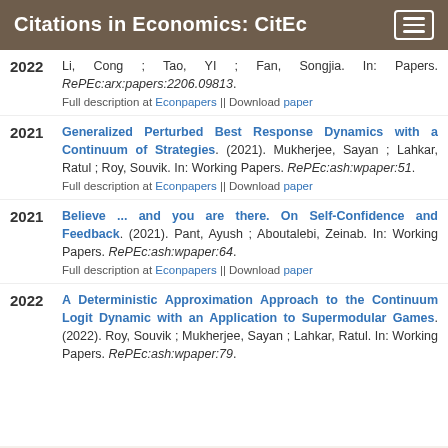Citations in Economics: CitEc
2022. Li, Cong ; Tao, YI ; Fan, Songjia. In: Papers. RePEc:arx:papers:2206.09813. Full description at Econpapers || Download paper
Generalized Perturbed Best Response Dynamics with a Continuum of Strategies. (2021). Mukherjee, Sayan ; Lahkar, Ratul ; Roy, Souvik. In: Working Papers. RePEc:ash:wpaper:51. Full description at Econpapers || Download paper
Believe ... and you are there. On Self-Confidence and Feedback. (2021). Pant, Ayush ; Aboutalebi, Zeinab. In: Working Papers. RePEc:ash:wpaper:64. Full description at Econpapers || Download paper
A Deterministic Approximation Approach to the Continuum Logit Dynamic with an Application to Supermodular Games. (2022). Roy, Souvik ; Mukherjee, Sayan ; Lahkar, Ratul. In: Working Papers. RePEc:ash:wpaper:79.